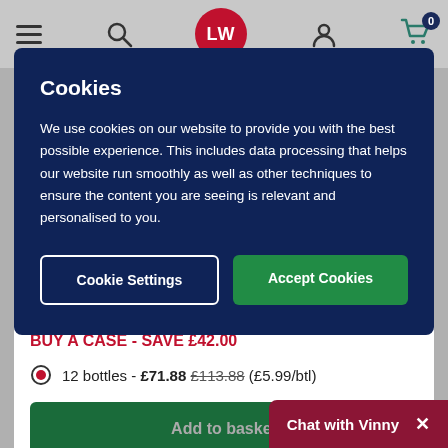[Figure (screenshot): Website navigation bar with hamburger menu, search icon, LW logo, user icon, and basket with 0 items]
Cookies
We use cookies on our website to provide you with the best possible experience. This includes data processing that helps our website run smoothly as well as other techniques to ensure the content you are seeing is relevant and personalised to you.
Cookie Settings | Accept Cookies
BUY A CASE - SAVE £42.00
12 bottles - £71.88 £113.88 (£5.99/btl)
Add to basket
Chat with Vinny  ×